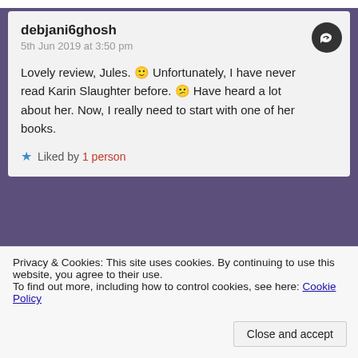debjani6ghosh
5th Jun 2019 at 3:50 pm

Lovely review, Jules. 🙂 Unfortunately, I have never read Karin Slaughter before. 😕 Have heard a lot about her. Now, I really need to start with one of her books.

★ Liked by 1 person
Jules_Writes
5th Jun 2019 at 5:17 pm
Privacy & Cookies: This site uses cookies. By continuing to use this website, you agree to their use.
To find out more, including how to control cookies, see here: Cookie Policy
Close and accept
★ Liked by 1 person